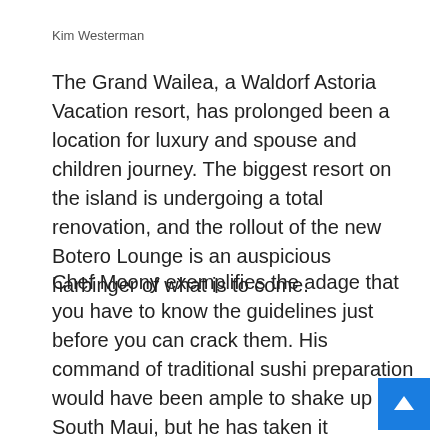Kim Westerman
The Grand Wailea, a Waldorf Astoria Vacation resort, has prolonged been a location for luxury and spouse and children journey. The biggest resort on the island is undergoing a total renovation, and the rollout of the new Botero Lounge is an auspicious harbinger of what is to come.
Chef Moony exemplifies the adage that you have to know the guidelines just before you can crack them. His command of traditional sushi preparation would have been ample to shake up South Maui, but he has taken it substantially further with his personal innovative twists on the freshest raw fish you'll locate on the island: consider octopus carpaccio with yuzu chimichurri